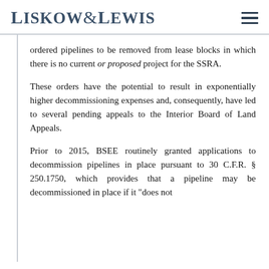Liskow&Lewis
ordered pipelines to be removed from lease blocks in which there is no current or proposed project for the SSRA.
These orders have the potential to result in exponentially higher decommissioning expenses and, consequently, have led to several pending appeals to the Interior Board of Land Appeals.
Prior to 2015, BSEE routinely granted applications to decommission pipelines in place pursuant to 30 C.F.R. § 250.1750, which provides that a pipeline may be decommissioned in place if it "does not